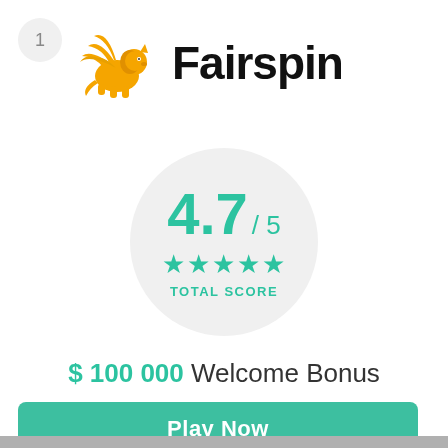1
[Figure (logo): Fairspin logo: golden winged lion figure with text 'Fairspin' in bold black]
[Figure (infographic): Rating circle showing 4.7/5 with 5 teal stars and TOTAL SCORE label]
$ 100 000 Welcome Bonus
Play Now